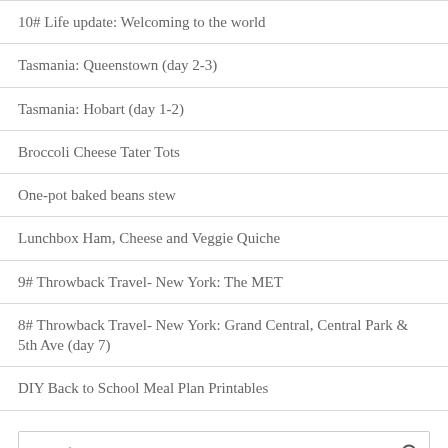10# Life update: Welcoming to the world
Tasmania: Queenstown (day 2-3)
Tasmania: Hobart (day 1-2)
Broccoli Cheese Tater Tots
One-pot baked beans stew
Lunchbox Ham, Cheese and Veggie Quiche
9# Throwback Travel- New York: The MET
8# Throwback Travel- New York: Grand Central, Central Park & 5th Ave (day 7)
DIY Back to School Meal Plan Printables
Search ...